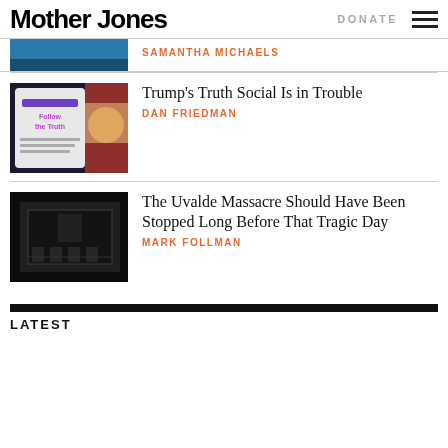Mother Jones | DONATE
[Figure (photo): Partial photo of a previous article, cropped at top]
SAMANTHA MICHAELS
[Figure (photo): Phone showing Truth social app with Trump in background]
Trump's Truth Social Is in Trouble
DAN FRIEDMAN
[Figure (photo): Black and white photo of empty classroom]
The Uvalde Massacre Should Have Been Stopped Long Before That Tragic Day
MARK FOLLMAN
LATEST